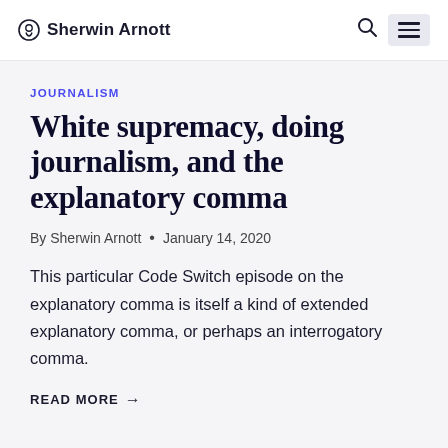Sherwin Arnott
JOURNALISM
White supremacy, doing journalism, and the explanatory comma
By Sherwin Arnott • January 14, 2020
This particular Code Switch episode on the explanatory comma is itself a kind of extended explanatory comma, or perhaps an interrogatory comma.
READ MORE →